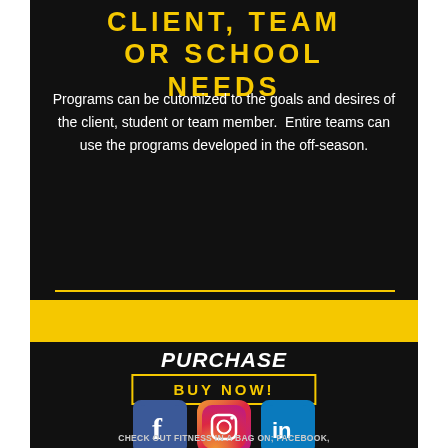CLIENT, TEAM OR SCHOOL NEEDS
Programs can be cutomized to the goals and desires of the client, student or team member.  Entire teams can use the programs developed in the off-season.
PURCHASE
BUY NOW!
[Figure (illustration): Social media icons: Facebook (blue square with f), Instagram (gradient circle with camera), LinkedIn (teal/blue square with in)]
CHECK OUT FITNESS IN A BAG ON; FACEBOOK, INSTAGRAM, AND LINKEDIN BY CLICKING ON THE ICONS